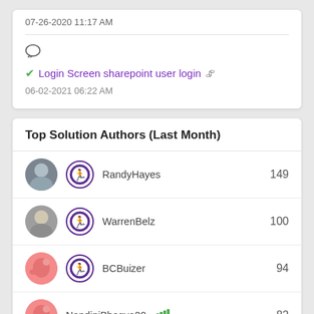06-02-2021 06:22 AM
Login Screen sharepoint user login
Top Solution Authors (Last Month)
RandyHayes 149
WarrenBelz 100
BCBuizer 94
NandiniBhagya20 82